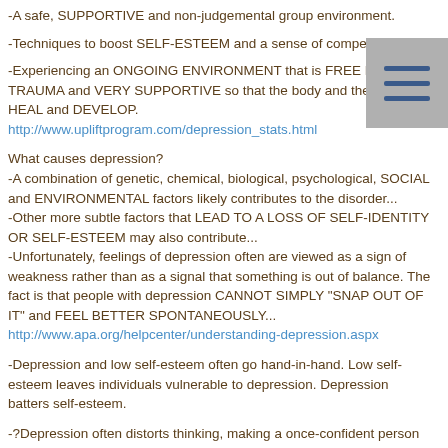-A safe, SUPPORTIVE and non-judgemental group environment.
-Techniques to boost SELF-ESTEEM and a sense of competence.
-Experiencing an ONGOING ENVIRONMENT that is FREE FROM TRAUMA and VERY SUPPORTIVE so that the body and the brain can HEAL and DEVELOP.
http://www.upliftprogram.com/depression_stats.html
What causes depression?
-A combination of genetic, chemical, biological, psychological, SOCIAL and ENVIRONMENTAL factors likely contributes to the disorder...
-Other more subtle factors that LEAD TO A LOSS OF SELF-IDENTITY OR SELF-ESTEEM may also contribute...
-Unfortunately, feelings of depression often are viewed as a sign of weakness rather than as a signal that something is out of balance. The fact is that people with depression CANNOT SIMPLY "SNAP OUT OF IT" and FEEL BETTER SPONTANEOUSLY...
http://www.apa.org/helpcenter/understanding-depression.aspx
-Depression and low self-esteem often go hand-in-hand. Low self-esteem leaves individuals vulnerable to depression. Depression batters self-esteem.
-?Depression often distorts thinking, making a once-confident person feel insecure, negative and self-loathing,? said Deborah Serani, Psy.D, a clinical psychologist...